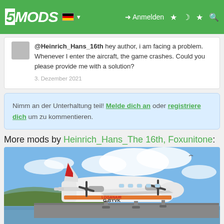5MODS | Anmelden
@Heinrich_Hans_16th hey author, i am facing a problem. Whenever I enter the aircraft, the game crashes. Could you please provide me with a solution? 3. Dezember 2021
Nimm an der Unterhaltung teil! Melde dich an oder registriere dich um zu kommentieren.
More mods by Heinrich_Hans_The 16th, Foxunitone:
[Figure (photo): Photo of a twin-engine propeller aircraft (Twin Otter) on the ground with registration G-BYVK and Loganair livery, blue sky with clouds in background]